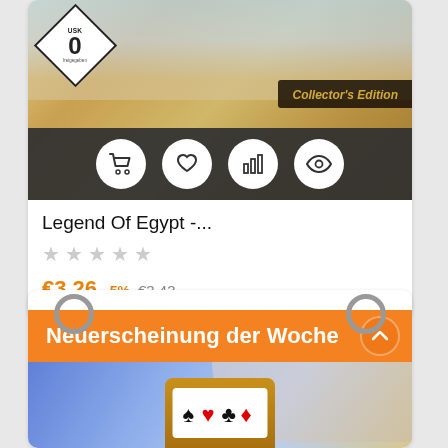[Figure (screenshot): Game product card showing Legend Of Egypt Collector's Edition with Egyptian themed artwork, USK 0 rating badge, action buttons (cart, wishlist, stats, preview), 5 empty stars, price €3.26 with -5% discount from €3.43]
Legend Of Egypt -...
★★★★★
€3.26 -5% €3.43
[Figure (screenshot): Second product card showing 'Neuerscheinung der Woche' (New Release of the Week) banner in orange with card game artwork visible at bottom, ring hangers at top corners]